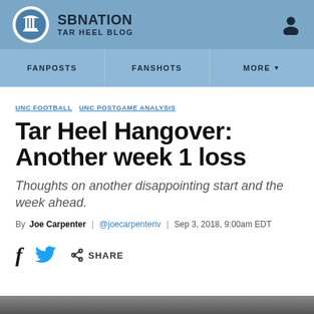SB NATION TAR HEEL BLOG
FANPOSTS | FANSHOTS | MORE
UNC FOOTBALL UNC POSTGAME ANALYSIS
Tar Heel Hangover: Another week 1 loss
Thoughts on another disappointing start and the week ahead.
By Joe Carpenter | @joecarpenteriv | Sep 3, 2018, 9:00am EDT
SHARE